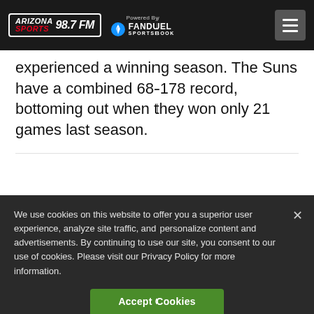Arizona Sports 98.7 FM | Powered By FanDuel Sportsbook
experienced a winning season. The Suns have a combined 68-178 record, bottoming out when they won only 21 games last season.
We use cookies on this website to offer you a superior user experience, analyze site traffic, and personalize content and advertisements. By continuing to use our site, you consent to our use of cookies. Please visit our Privacy Policy for more information.
Accept Cookies